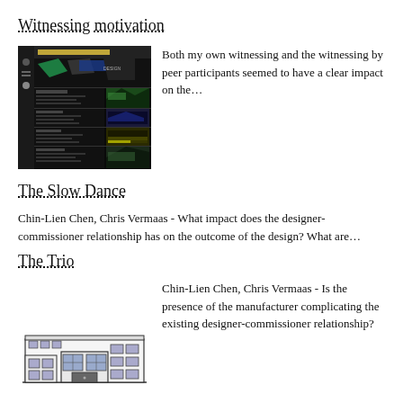Witnessing motivation
[Figure (screenshot): Screenshot of a dark website interface with colorful graphic design elements and navigation]
Both my own witnessing and the witnessing by peer participants seemed to have a clear impact on the…
The Slow Dance
Chin-Lien Chen, Chris Vermaas - What impact does the designer-commissioner relationship has on the outcome of the design? What are…
The Trio
Chin-Lien Chen, Chris Vermaas - Is the presence of the manufacturer complicating the existing designer-commissioner relationship?
[Figure (illustration): Line drawing illustration of an industrial or factory building]